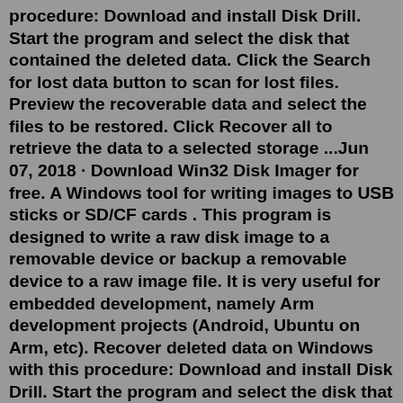procedure: Download and install Disk Drill. Start the program and select the disk that contained the deleted data. Click the Search for lost data button to scan for lost files. Preview the recoverable data and select the files to be restored. Click Recover all to retrieve the data to a selected storage ...Jun 07, 2018 · Download Win32 Disk Imager for free. A Windows tool for writing images to USB sticks or SD/CF cards . This program is designed to write a raw disk image to a removable device or backup a removable device to a raw image file. It is very useful for embedded development, namely Arm development projects (Android, Ubuntu on Arm, etc). Recover deleted data on Windows with this procedure: Download and install Disk Drill. Start the program and select the disk that contained the deleted data. Click the Search for lost data button to scan for lost files. Preview the recoverable data and select the files to be restored. Click Recover all to retrieve the data to a selected storage ...Jul 27, 2022 · Download dd_rescue for free. Data recovery and protection tool. dd_rescue is a